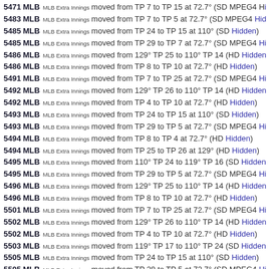5471 MLB MLB Extra Innings moved from TP 7 to TP 15 at 72.7° (SD MPEG4 Hi
5483 MLB MLB Extra Innings moved from TP 7 to TP 5 at 72.7° (SD MPEG4 Hid
5485 MLB MLB Extra Innings moved from TP 24 to TP 15 at 110° (SD Hidden)
5485 MLB MLB Extra Innings moved from TP 29 to TP 7 at 72.7° (SD MPEG4 Hi
5486 MLB MLB Extra Innings moved from 129° TP 25 to 110° TP 14 (HD Hidden
5486 MLB MLB Extra Innings moved from TP 8 to TP 10 at 72.7° (HD Hidden)
5491 MLB MLB Extra Innings moved from TP 7 to TP 25 at 72.7° (SD MPEG4 Hi
5492 MLB MLB Extra Innings moved from 129° TP 26 to 110° TP 14 (HD Hidden
5492 MLB MLB Extra Innings moved from TP 4 to TP 10 at 72.7° (HD Hidden)
5493 MLB MLB Extra Innings moved from TP 24 to TP 15 at 110° (SD Hidden)
5493 MLB MLB Extra Innings moved from TP 29 to TP 5 at 72.7° (SD MPEG4 Hi
5494 MLB MLB Extra Innings moved from TP 8 to TP 4 at 72.7° (HD Hidden)
5494 MLB MLB Extra Innings moved from TP 25 to TP 26 at 129° (HD Hidden)
5495 MLB MLB Extra Innings moved from 110° TP 24 to 119° TP 16 (SD Hidden
5495 MLB MLB Extra Innings moved from TP 29 to TP 5 at 72.7° (SD MPEG4 Hi
5496 MLB MLB Extra Innings moved from 129° TP 25 to 110° TP 14 (HD Hidden
5496 MLB MLB Extra Innings moved from TP 8 to TP 10 at 72.7° (HD Hidden)
5501 MLB MLB Extra Innings moved from TP 7 to TP 25 at 72.7° (SD MPEG4 Hi
5502 MLB MLB Extra Innings moved from 129° TP 26 to 110° TP 14 (HD Hidden
5502 MLB MLB Extra Innings moved from TP 4 to TP 10 at 72.7° (HD Hidden)
5503 MLB MLB Extra Innings moved from 119° TP 17 to 110° TP 24 (SD Hidden
5505 MLB MLB Extra Innings moved from TP 24 to TP 15 at 110° (SD Hidden)
5505 MLB MLB Extra Innings moved from TP 29 to TP 5 at 72.7° (SD MPEG4 Hi
5506 MLB MLB Extra Innings moved from TP 8 to TP 4 at 72.7° (HD Hidden)